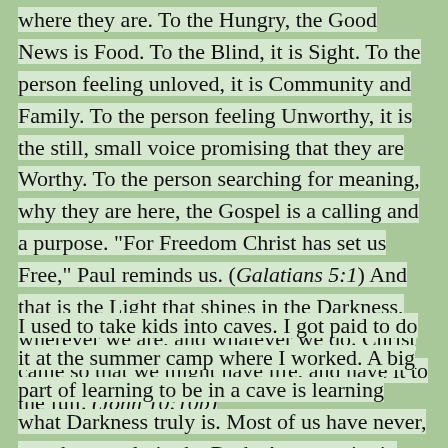where they are. To the Hungry, the Good News is Food. To the Blind, it is Sight. To the person feeling unloved, it is Community and Family. To the person feeling Unworthy, it is the still, small voice promising that they are Worthy. To the person searching for meaning, why they are here, the Gospel is a calling and a purpose. “For Freedom Christ has set us Free,” Paul reminds us. (Galatians 5:1) And that is the Light that shines in the Darkness, wherever we are, and whatever we do. Christ came so that we might have life, and have it to the full. (John 10:10b)
I used to take kids into caves. I got paid to do it at the summer camp where I worked. A big part of learning to be in a cave is learning what Darkness truly is. Most of us have never, ever been truly in the Dark. At one point in most caves, you are in deep enough that the light